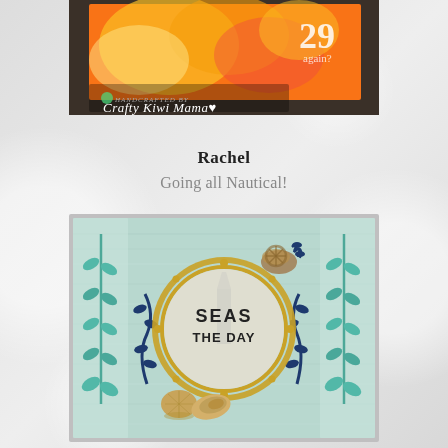[Figure (photo): Top photo: handcrafted card with orange/yellow watercolor background and '29 again?' text, with 'Handcrafted by Crafty Kiwi Mama' script logo overlay]
Rachel
Going all Nautical!
[Figure (photo): Nautical-themed handcrafted card with light blue/mint wood-grain background, gold porthole ring in center with 'SEAS THE DAY' text, teal leaf/seaweed embellishments on sides, navy blue coral/seaweed die-cuts, gold ship's wheel, and shell embellishments at bottom]